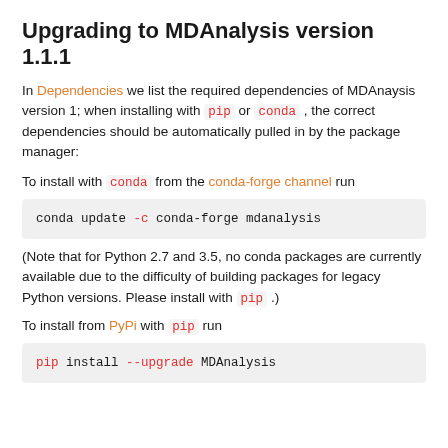Upgrading to MDAnalysis version 1.1.1
In Dependencies we list the required dependencies of MDAnaysis version 1; when installing with pip or conda , the correct dependencies should be automatically pulled in by the package manager:
To install with conda from the conda-forge channel run
(Note that for Python 2.7 and 3.5, no conda packages are currently available due to the difficulty of building packages for legacy Python versions. Please install with pip .)
To install from PyPi with pip run